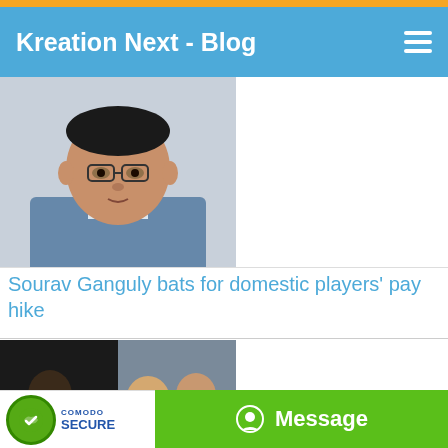Kreation Next - Blog
[Figure (photo): Thumbnail photo of Sourav Ganguly, a man in a blue jacket]
Sourav Ganguly bats for domestic players' pay hike
[Figure (photo): Thumbnail photo collage related to Shah Rukh Khan and Pritam with a guitar]
Shah Rukh Khan gifts Pritam a guitar to mark their 'Safar' in Jab Harry Met Sejal
[Figure (logo): Comodo Secure badge with green thumbs up icon]
Message